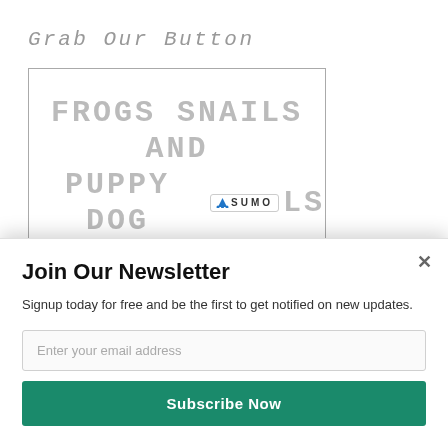Grab Our Button
[Figure (illustration): Blog logo image showing hand-drawn text: 'Frogs Snails and Puppy Dog Tails' with a SUMO badge overlay]
Join Our Newsletter
Signup today for free and be the first to get notified on new updates.
Enter your email address
Subscribe Now